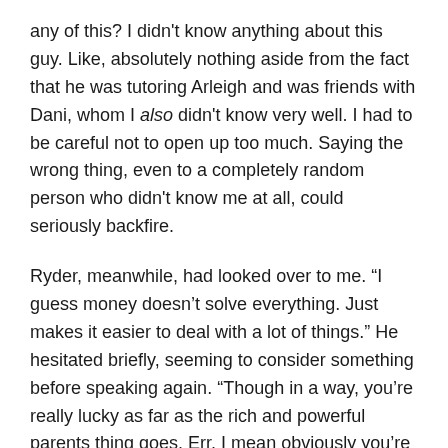any of this? I didn't know anything about this guy. Like, absolutely nothing aside from the fact that he was tutoring Arleigh and was friends with Dani, whom I also didn't know very well. I had to be careful not to open up too much. Saying the wrong thing, even to a completely random person who didn't know me at all, could seriously backfire.
Ryder, meanwhile, had looked over to me. “I guess money doesn't solve everything. Just makes it easier to deal with a lot of things.” He hesitated briefly, seeming to consider something before speaking again. “Though in a way, you're really lucky as far as the rich and powerful parents thing goes. Err, I mean obviously you’re lucky. But for a different reason. I just–” Shaking his head as though clearing it, he pushed on. “What I mean is, people don't